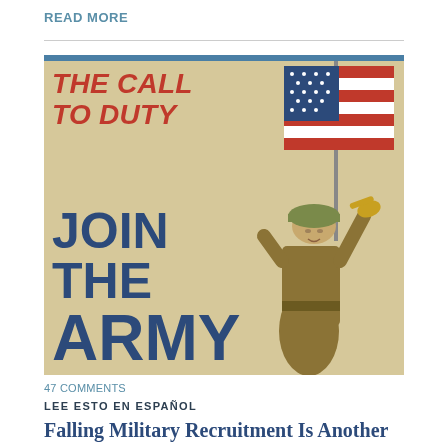READ MORE
[Figure (illustration): WWI-era U.S. Army recruitment poster showing a soldier blowing a bugle next to an American flag, with text 'THE CALL TO DUTY JOIN THE ARMY' in red and dark blue letters on a beige/cream background. A blue bar appears at the top of the image.]
47 COMMENTS
LEE ESTO EN ESPAÑOL
Falling Military Recruitment Is Another